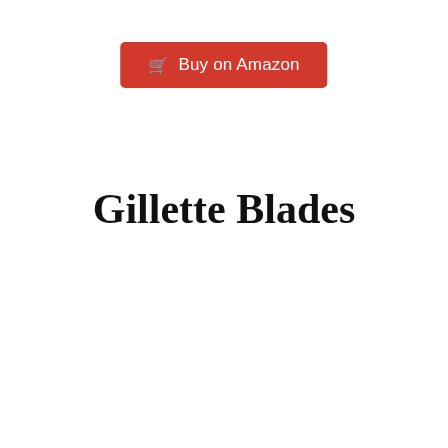[Figure (other): Red 'Buy on Amazon' button with shopping cart icon]
Gillette Blades